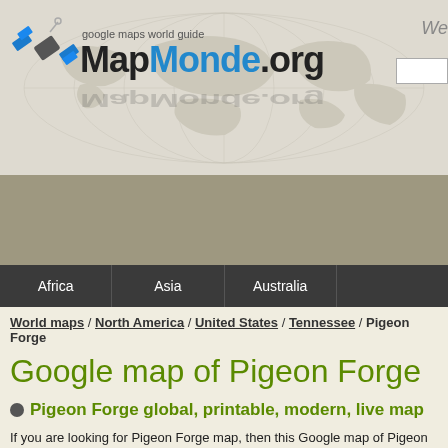[Figure (logo): MapMonde.org website header with satellite logo, world map background, and site name with tagline 'google maps world guide']
[Figure (other): Gray advertisement banner area]
Africa / Asia / Australia
World maps / North America / United States / Tennessee / Pigeon Forge
Google map of Pigeon Forge
Pigeon Forge global, printable, modern, live map
If you are looking for Pigeon Forge map, then this Google map of Pigeon Forge. Google satellite imaging of Pigeon Forge, you can view entire streets or b... modern, live map are easy to use and set up in a practical way. All you need to... which to see. Then use the search and navigation tools to get closer details... the accuracy of satellite imaging in a way that is easy to put to immediate use...